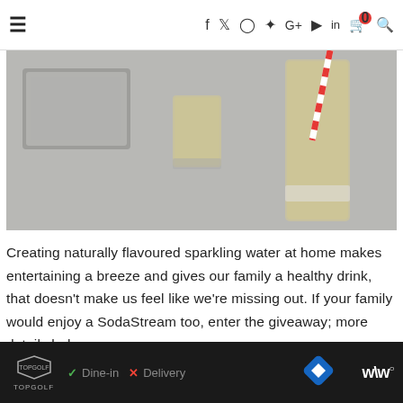≡  f  Twitter  Instagram  Pinterest  G+  YouTube  in  🛒  🔍
[Figure (photo): Photo of drinks on a grey countertop — a short glass, a tall glass with yellow liquid, and a tall glass with a red and white striped straw, also containing a pale yellow sparkling drink.]
Creating naturally flavoured sparkling water at home makes entertaining a breeze and gives our family a healthy drink, that doesn't make us feel like we're missing out. If your family would enjoy a SodaStream too, enter the giveaway; more details below.
[Figure (infographic): Advertisement banner: Topgolf logo on the left, green checkmark with 'Dine-in', red X with 'Delivery', blue diamond navigation icon, and WW logo on the right on a dark background.]